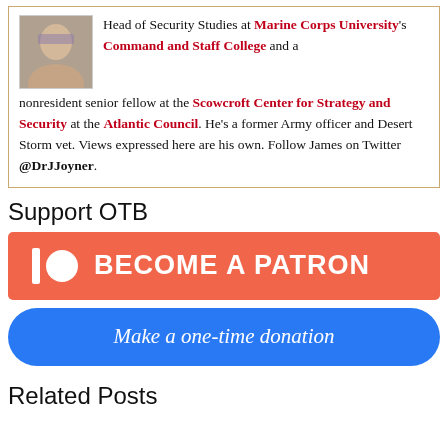Head of Security Studies at Marine Corps University's Command and Staff College and a nonresident senior fellow at the Scowcroft Center for Strategy and Security at the Atlantic Council. He's a former Army officer and Desert Storm vet. Views expressed here are his own. Follow James on Twitter @DrJJoyner.
Support OTB
[Figure (other): Patreon button with Patreon logo icon and text BECOME A PATRON on salmon/coral background]
[Figure (other): Blue rounded button with text Make a one-time donation]
Related Posts